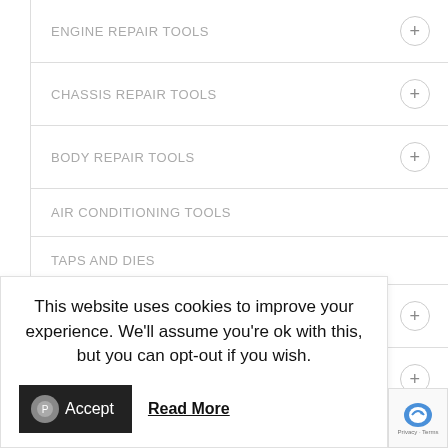ENGINE REPAIR TOOLS
CHASSIS REPAIR TOOLS
BODY REPAIR TOOLS
AIR CONDITIONING TOOLS
TAPS AND DIES
METAL DRILL BITS FOR STEEL
JUMP STARTERS
R JACKS
This website uses cookies to improve your experience. We'll assume you're ok with this, but you can opt-out if you wish.
Accept  Read More